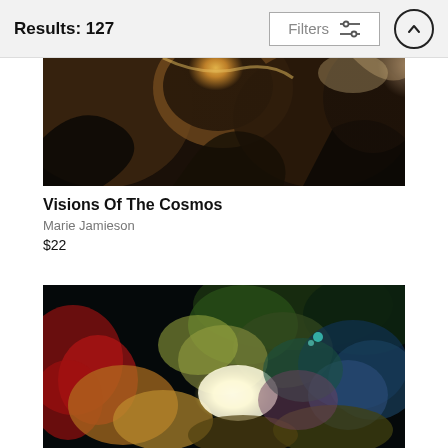Results: 127
[Figure (photo): Partial view of an abstract dark image with brown, gold and rocky textures - appears to be 'Visions Of The Cosmos' artwork cropped at top]
Visions Of The Cosmos
Marie Jamieson
$22
[Figure (photo): Abstract colorful artwork with overlapping circular bokeh shapes in red, green, yellow, white, blue and dark tones against a black background]